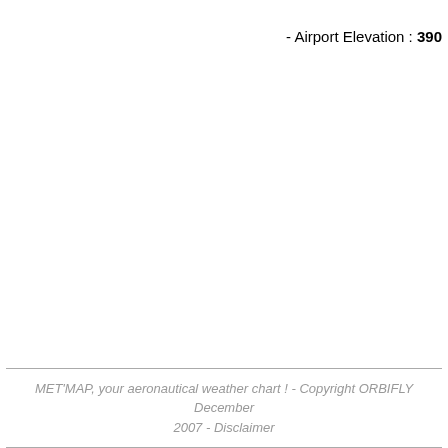- Airport Elevation : 390
MET'MAP, your aeronautical weather chart ! - Copyright ORBIFLY December 2007 - Disclaimer